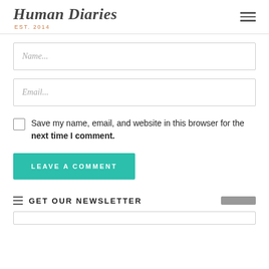Human Diaries EST. 2014
Name...
Email...
Save my name, email, and website in this browser for the next time I comment.
LEAVE A COMMENT
GET OUR NEWSLETTER